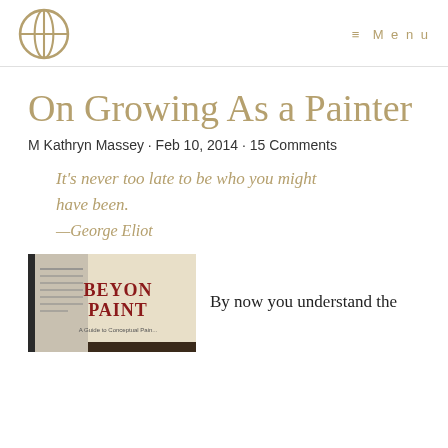≡ Menu
On Growing As a Painter
M Kathryn Massey · Feb 10, 2014 · 15 Comments
It's never too late to be who you might have been. —George Eliot
[Figure (photo): Book cover showing 'BEYOND PAINT' with subtitle 'A Guide to Conceptual Pain...']
By now you understand the